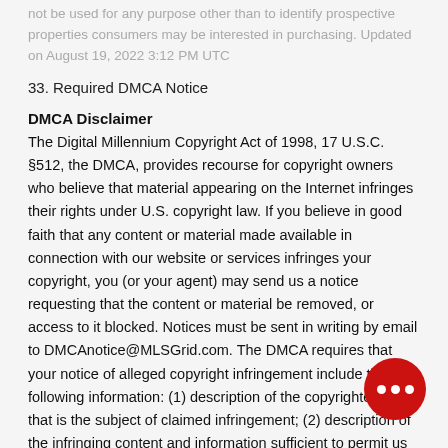not be used for any purpose other than to identify prospective properties consumers may be interested in purchasing. Updated on August 19, 2022 3:12 PM UTC
33. Required DMCA Notice
DMCA Disclaimer
The Digital Millennium Copyright Act of 1998, 17 U.S.C. §512, the DMCA, provides recourse for copyright owners who believe that material appearing on the Internet infringes their rights under U.S. copyright law. If you believe in good faith that any content or material made available in connection with our website or services infringes your copyright, you (or your agent) may send us a notice requesting that the content or material be removed, or access to it blocked. Notices must be sent in writing by email to DMCAnotice@MLSGrid.com. The DMCA requires that your notice of alleged copyright infringement include the following information: (1) description of the copyrighted work that is the subject of claimed infringement; (2) description of the infringing content and information sufficient to permit us to locate the content; (3) contact information for you, including your address, telephone number and email address; (4) a statement by